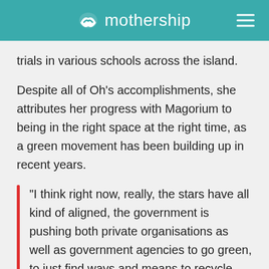mothership
trials in various schools across the island.
Despite all of Oh's accomplishments, she attributes her progress with Magorium to being in the right space at the right time, as a green movement has been building up in recent years.
"I think right now, really, the stars have all kind of aligned, the government is pushing both private organisations as well as government agencies to go green, to just find ways and means to recycle plastic.

Yeah, so I felt that it wasn't just the publicity